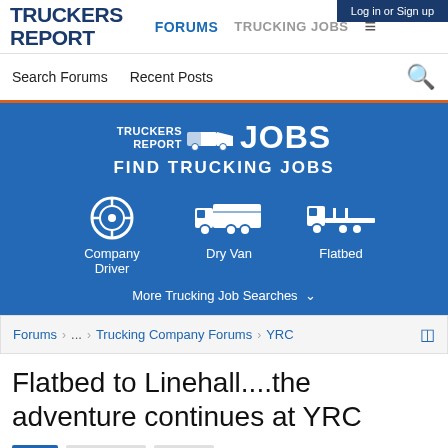Log in or Sign up
TRUCKERS REPORT
FORUMS  TRUCKING JOBS  ☰
Search Forums   Recent Posts
[Figure (infographic): Truckers Report Jobs banner with truck icons for Company Driver, Dry Van, and Flatbed job search categories, and a 'More Trucking Job Searches' link]
Forums  ...  Trucking Company Forums  YRC
Flatbed to Linehall....the adventure continues at YRC